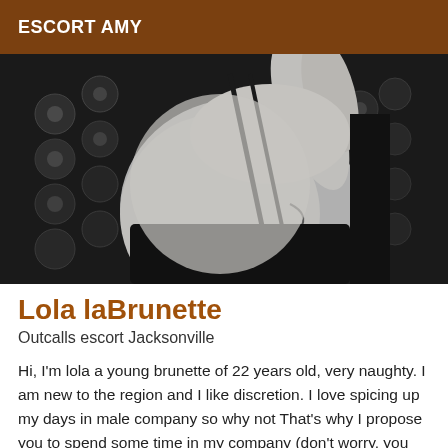ESCORT AMY
[Figure (photo): Black and white photo of a young woman in a dark lingerie strap, posed against a dark background with reflective spherical decorations.]
Lola laBrunette
Outcalls escort Jacksonville
Hi, I'm lola a young brunette of 22 years old, very naughty. I am new to the region and I like discretion. I love spicing up my days in male company so why not That's why I propose you to spend some time in my company (don't worry, you won't be disappointed). I love